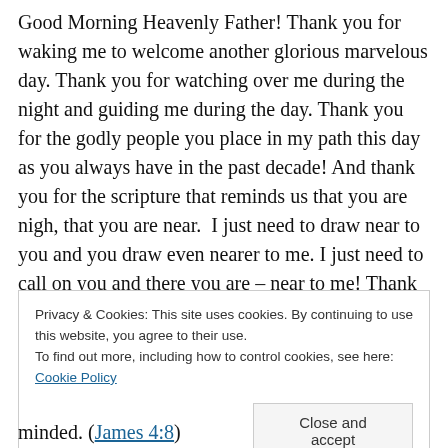Good Morning Heavenly Father! Thank you for waking me to welcome another glorious marvelous day. Thank you for watching over me during the night and guiding me during the day. Thank you for the godly people you place in my path this day as you always have in the past decade! And thank you for the scripture that reminds us that you are nigh, that you are near.  I just need to draw near to you and you draw even nearer to me. I just need to call on you and there you are – near to me! Thank you for the scripture that reminds us of this for the letter N this day:
Privacy & Cookies: This site uses cookies. By continuing to use this website, you agree to their use. To find out more, including how to control cookies, see here: Cookie Policy
Close and accept
minded. (James 4:8)